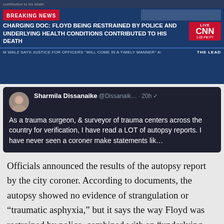[Figure (screenshot): CNN Breaking News screenshot showing headline: 'CHARGING DOC: FLOYD BEING RESTRAINED BY POLICE AND UNDERLYING HEALTH CONDITIONS CONTRIBUTED TO HIS DEATH'. Ticker: 'M WALZ SAYS JUSTICE FOR OFFICERS "WILL COME IN A TIMELY MANNER" AI  THE LEAD'. Live CNN logo visible. Time: 1:09 PM PT.]
[Figure (screenshot): Tweet by Sharmila Dissanaike @Dissanaik... 20h: 'As a trauma surgeon, & surveyor of trauma centers across the country for verification, I have read a LOT of autopsy reports. I have never seen a coroner make statements lik...']
Officials announced the results of the autopsy report by the city coroner. According to documents, the autopsy showed no evidence of strangulation or “traumatic asphyxia,” but it says the way Floyd was restrained by police, combined with an “underlying health problem,” he had, likely